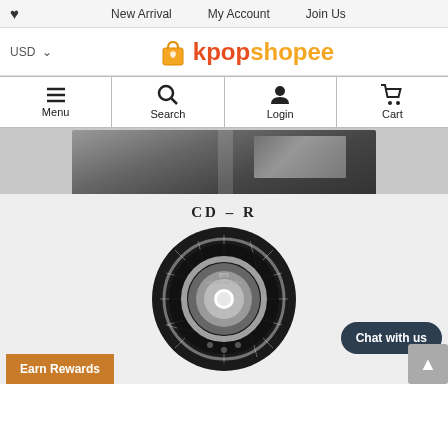♥  New Arrival  My Account  Join Us
[Figure (logo): kpopshopee logo with shopping bag icon, USD currency selector]
Menu  Search  Login  Cart
[Figure (photo): Black and white photo of a book or album spread, cropped at top]
[Figure (photo): CD-R product image on light gray background showing a dark ornate CD with sunburst design]
Chat with us
Earn Rewards